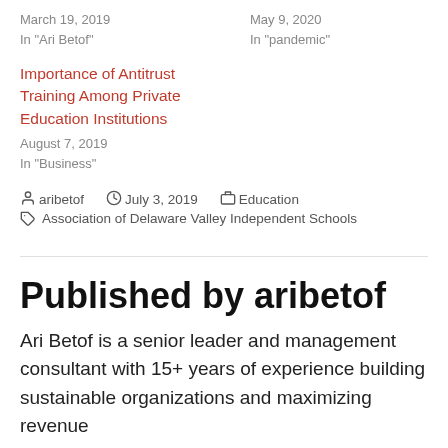March 19, 2019
In "Ari Betof"
May 9, 2020
In "pandemic"
Importance of Antitrust Training Among Private Education Institutions
August 7, 2019
In "Business"
By aribetof  July 3, 2019  Education
Tags: Association of Delaware Valley Independent Schools
Published by aribetof
Ari Betof is a senior leader and management consultant with 15+ years of experience building sustainable organizations and maximizing revenue